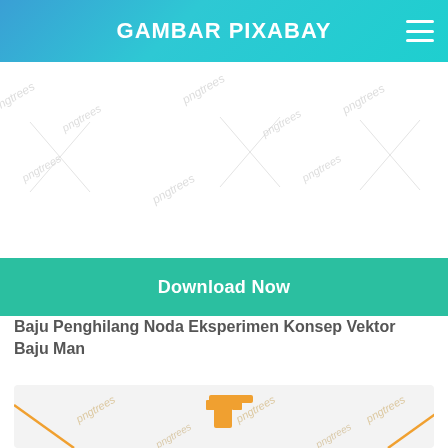GAMBAR PIXABAY
[Figure (photo): White area with watermark text from pngtrees/shutterstock, serving as placeholder for stock image]
[Figure (other): Download Now button - teal/green colored call-to-action button]
Baju Penghilang Noda Eksperimen Konsep Vektor Baju Man
[Figure (illustration): Light gray background image area with orange vector illustration elements and pngtrees watermarks]